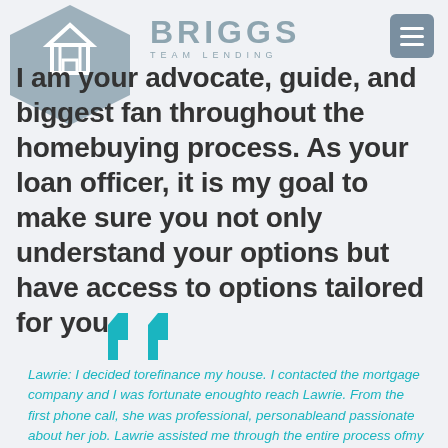[Figure (logo): Briggs Team Lending logo with hexagon shape containing a house icon and the text BRIGGS TEAM LENDING, plus a hamburger menu button]
I am your advocate, guide, and biggest fan throughout the homebuying process. As your loan officer, it is my goal to make sure you not only understand your options but have access to options tailored for you.
[Figure (illustration): Large teal decorative quotation mark graphic]
Lawrie: I decided torefinance my house. I contacted the mortgage company and I was fortunate enoughto reach Lawrie. From the first phone call, she was professional, personableand passionate about her job. Lawrie assisted me through the entire process ofmy refinancing journey. She was very responsive to my calls,